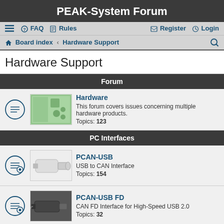PEAK-System Forum
FAQ   Rules   Register   Login
Board index > Hardware Support
Hardware Support
Forum
Hardware
This forum covers issues concerning multiple hardware products.
Topics: 123
PC Interfaces
PCAN-USB
USB to CAN Interface
Topics: 154
PCAN-USB FD
CAN FD Interface for High-Speed USB 2.0
Topics: 32
PCAN-USB Pro
High-speed USB 2.0 to CAN/LIN Interface
Topics: 27